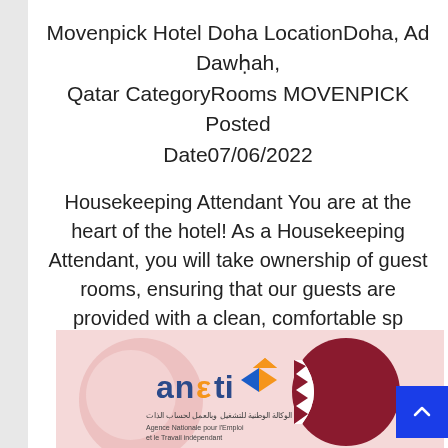Movenpick Hotel Doha LocationDoha, Ad Dawḥah, Qatar CategoryRooms MOVENPICK Posted Date07/06/2022
Housekeeping Attendant You are at the heart of the hotel! As a Housekeeping Attendant, you will take ownership of guest rooms, ensuring that our guests are provided with a clean, comfortable sp
Assistant E-commerce Manager
[Figure (logo): ANETI logo with orange and blue arrow icon, Arabic text below, alongside a Qatar national flag emblem circle on a light pink background]